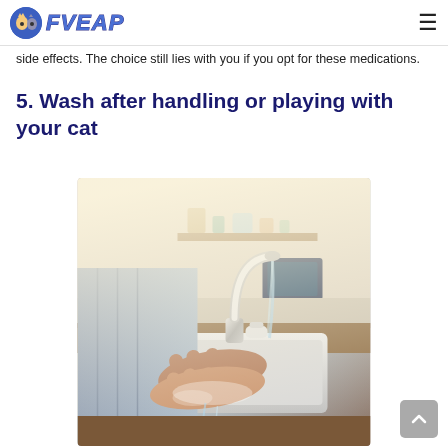FVEAP
side effects. The choice still lies with you if you opt for these medications.
5. Wash after handling or playing with your cat
[Figure (photo): A person washing their hands under a chrome kitchen faucet in a kitchen sink, with warm back-lighting.]